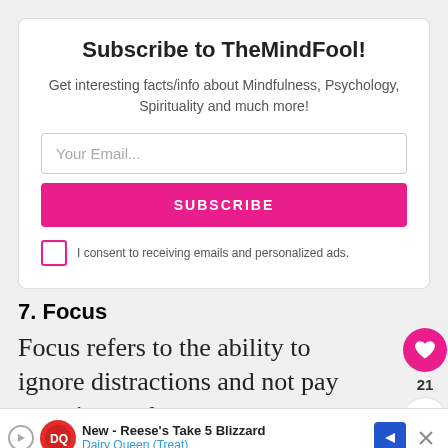Subscribe to TheMindFool!
Get interesting facts/info about Mindfulness, Psychology, Spirituality and much more!
Your Email...
SUBSCRIBE
I consent to receiving emails and personalized ads.
7. Focus
Focus refers to the ability to ignore distractions and not pay attention to the
[Figure (other): Advertisement banner: Dairy Queen - New Reese's Take 5 Blizzard (Treat)]